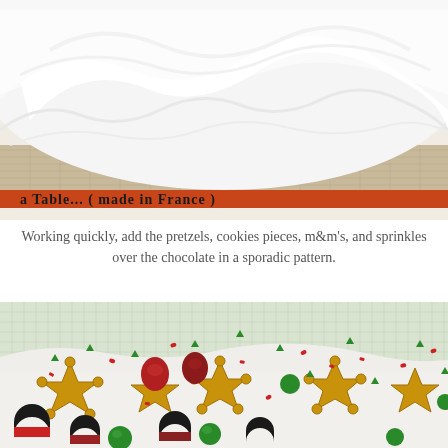[Figure (photo): Close-up of white fluffy meringue or whipped cream spread on a baking mat, with an orange edge of the mat visible showing text 'a Table... (made in France)']
Working quickly, add the pretzels, cookies pieces, m&m's, and sprinkles over the chocolate in a sporadic pattern.
[Figure (photo): Close-up photo of a white chocolate bark topped with star-shaped pretzels, green and red M&Ms, black and red Oreo cookie pieces, and colorful red and green sprinkles on a silicone baking mat]